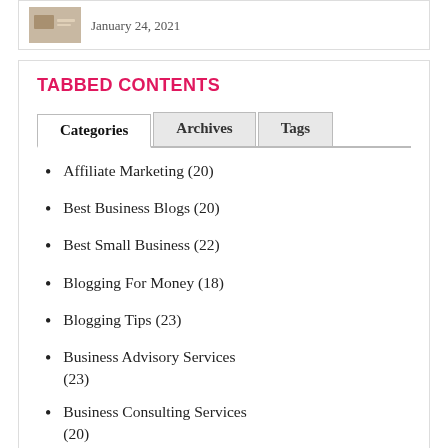January 24, 2021
TABBED CONTENTS
Affiliate Marketing (20)
Best Business Blogs (20)
Best Small Business (22)
Blogging For Money (18)
Blogging Tips (23)
Business Advisory Services (23)
Business Consulting Services (20)